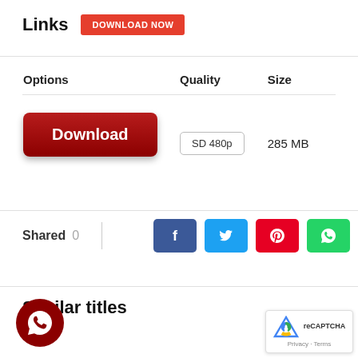Links
[Figure (other): DOWNLOAD NOW button (red)]
| Options | Quality | Size |
| --- | --- | --- |
| Download | SD 480p | 285 MB |
Shared 0
[Figure (other): Social share buttons: Facebook, Twitter, Pinterest, WhatsApp]
Similar titles
[Figure (other): WhatsApp circular icon (dark red background)]
[Figure (other): reCAPTCHA badge with Privacy and Terms links]